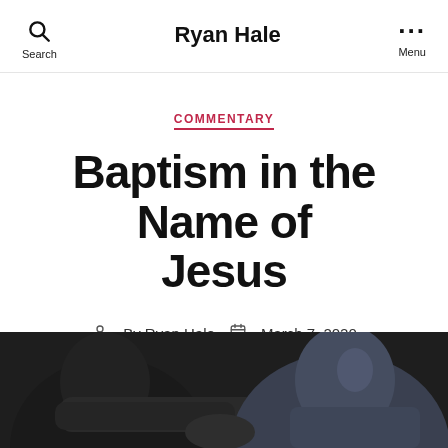Ryan Hale
COMMENTARY
Baptism in the Name of Jesus
By Ryan Hale   March 7, 2020   No Comments
[Figure (photo): Photo of two people, one in dark clothing and one in a blue polo shirt, with hands visible, set against a dark background.]